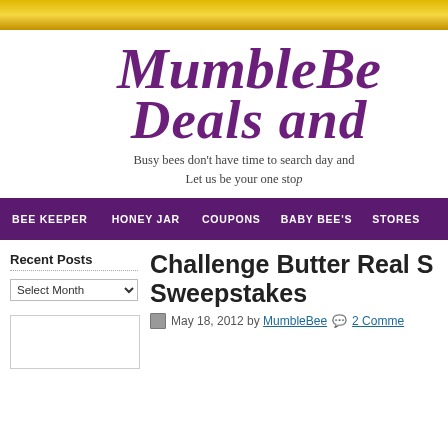MumbleBee Deals and ...
Busy bees don't have time to search day and ... Let us be your one stop...
BEE KEEPER   HONEY JAR   COUPONS   BABY BEE'S   STORES
Recent Posts
Challenge Butter Real S... Sweepstakes
May 18, 2012 by MumbleBee   2 Comme...